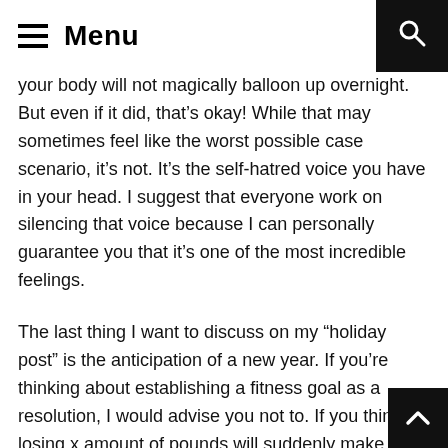Menu
your body will not magically balloon up overnight. But even if it did, that's okay! While that may sometimes feel like the worst possible case scenario, it's not. It's the self-hatred voice you have in your head. I suggest that everyone work on silencing that voice because I can personally guarantee you that it's one of the most incredible feelings.
The last thing I want to discuss on my “holiday post” is the anticipation of a new year. If you’re thinking about establishing a fitness goal as a resolution, I would advise you not to. If you think losing x amount of pounds will suddenly make your life perfect and will make you love everything about yourself, I hate to be the bearer of bad news but… that’s not true. That ideal number you have in your head will continue to lower, will never be enough. While you may think that your physical